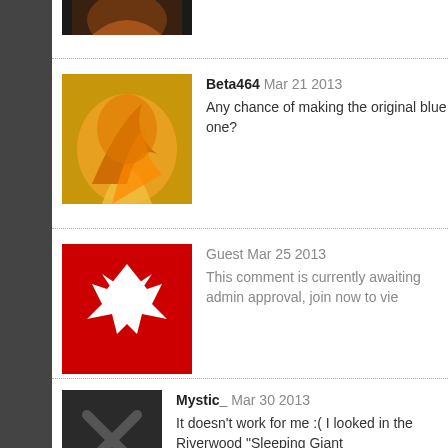[Figure (photo): Partial avatar image at top (fire/dragon theme, dark background)]
Beta464 Mar 21 2013
Any chance of making the original blue one?
[Figure (photo): Red avatar with white wolf/dog silhouette]
Guest Mar 25 2013
This comment is currently awaiting admin approval, join now to vie
[Figure (photo): Dark gray avatar with X mark]
Mystic_ Mar 30 2013
It doesn't work for me :( I looked in the Riverwood "Sleeping Giant in the SCK but also can't find it in there :(
[Figure (photo): Red avatar with white giraffe silhouette]
Guest May 3 2013
This comment is currently awaiting admin approval, join now
[Figure (photo): Partial dark avatar at bottom]